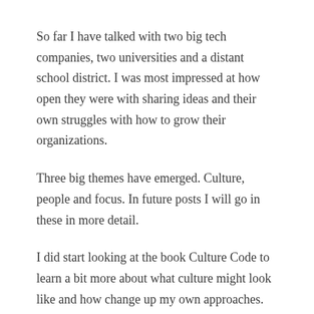So far I have talked with two big tech companies, two universities and a distant school district. I was most impressed at how open they were with sharing ideas and their own struggles with how to grow their organizations.
Three big themes have emerged. Culture, people and focus. In future posts I will go in these in more detail.
I did start looking at the book Culture Code to learn a bit more about what culture might look like and how change up my own approaches.
I also started using Blinkist, it boils down a book in like fifteen minutes.